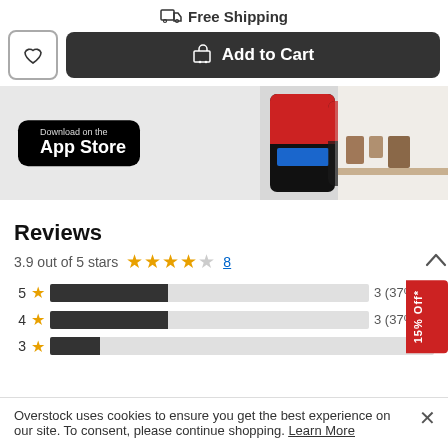Free Shipping
Add to Cart
[Figure (screenshot): App store banner with Download on the App Store badge and hand holding smartphone with Overstock app]
Reviews
3.9 out of 5 stars  8
[Figure (bar-chart): Rating distribution]
Overstock uses cookies to ensure you get the best experience on our site. To consent, please continue shopping. Learn More